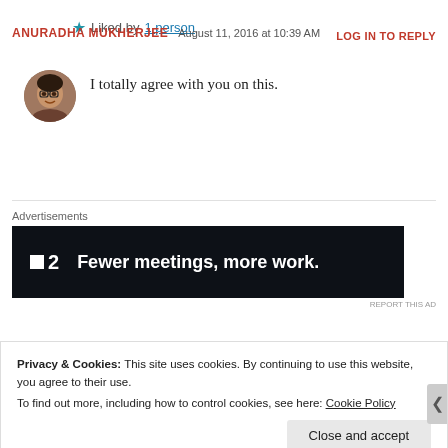ANURADHA MUKHERJEE  August 11, 2016 at 10:39 AM
LOG IN TO REPLY
[Figure (photo): Circular avatar photo of Anuradha Mukherjee, a woman wearing glasses]
I totally agree with you on this.
★ Liked by 1 person
Advertisements
[Figure (screenshot): Dark advertisement banner for a product showing logo '⬛2' and tagline 'Fewer meetings, more work.']
REPORT THIS AD
Privacy & Cookies: This site uses cookies. By continuing to use this website, you agree to their use.
To find out more, including how to control cookies, see here: Cookie Policy
Close and accept